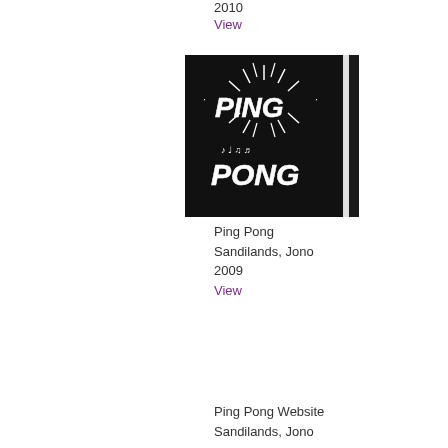2010
View
[Figure (photo): Book cover with chalk-drawn text on black background reading 'PING PONG' with decorative rays and musical notes]
Ping Pong
Sandilands, Jono
2009
View
Ping Pong Website
Sandilands, Jono